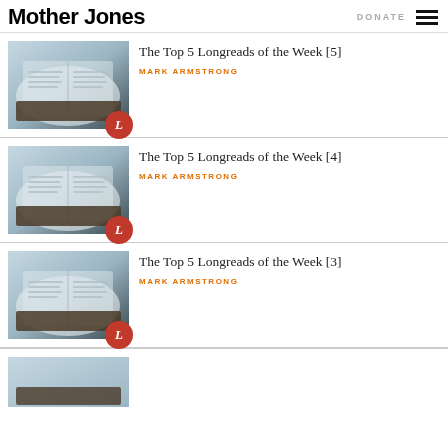Mother Jones | DONATE
The Top 5 Longreads of the Week [5] — MARK ARMSTRONG
The Top 5 Longreads of the Week [4] — MARK ARMSTRONG
The Top 5 Longreads of the Week [3] — MARK ARMSTRONG